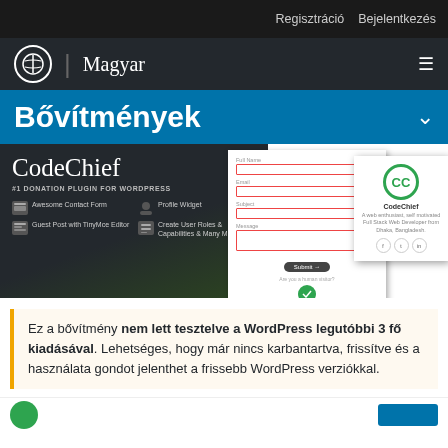Regisztráció  Bejelentkezés
Magyar
Bővítmények
[Figure (screenshot): CodeChief WordPress plugin banner showing logo, subtitle '#1 DONATION PLUGIN FOR WORDPRESS', feature list (Awesome Contact Form, Profile Widget, Guest Post with TinyMce Editor, Create User Roles & Capabilities & Many More), a contact form screenshot, and a CC profile card with green circular logo.]
Ez a bővítmény nem lett tesztelve a WordPress legutóbbi 3 fő kiadásával. Lehetséges, hogy már nincs karbantartva, frissítve és a használata gondot jelenthet a frissebb WordPress verziókkal.